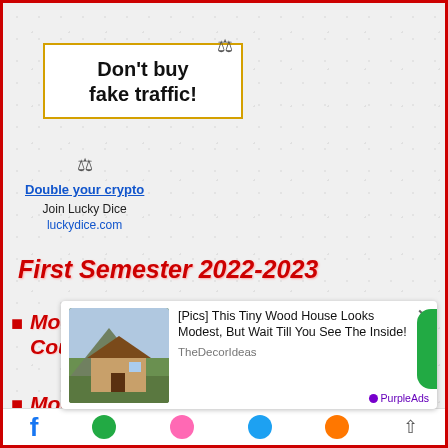[Figure (other): Advertisement box with yellow border: 'Don't buy fake traffic!']
Double your crypto
Join Lucky Dice
luckydice.com
First Semester 2022-2023
Monday October 31st, 2022 – Student Course Registration online begins
Monday November 14, 2022: Academic
[Figure (other): Advertisement: '[Pics] This Tiny Wood House Looks Modest, But Wait Till You See The Inside! - TheDecorIdeas']